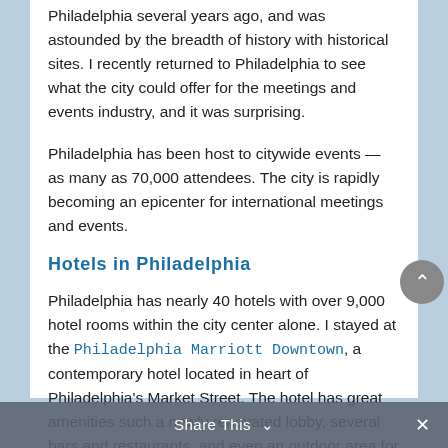Philadelphia several years ago, and was astounded by the breadth of history with historical sites. I recently returned to Philadelphia to see what the city could offer for the meetings and events industry, and it was surprising.
Philadelphia has been host to citywide events — as many as 70,000 attendees. The city is rapidly becoming an epicenter for international meetings and events.
Hotels in Philadelphia
Philadelphia has nearly 40 hotels with over 9,000 hotel rooms within the city center alone. I stayed at the Philadelphia Marriott Downtown, a contemporary hotel located in heart of Philadelphia's Market Street. The hotel has great amenities such a newly renovated lobby, several bars and restaurants, and even an outdoor area for drinks on busy 13th street. If you are searching for a business travel hotel that is connected
Share This